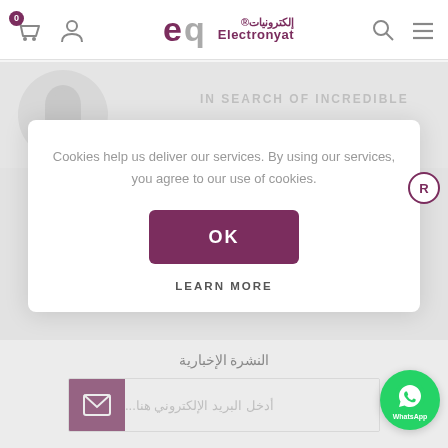[Figure (screenshot): Electronyat e-commerce website header with logo, cart icon, user icon, search icon, and menu icon]
[Figure (screenshot): Background content showing Apple logo placeholder and 'IN SEARCH OF INCREDIBLE' slogan]
Cookies help us deliver our services. By using our services, you agree to our use of cookies.
OK
LEARN MORE
النشرة الإخبارية
أدخل البريد الإلكتروني هنا...
[Figure (logo): WhatsApp green circle button with WhatsApp icon and label]